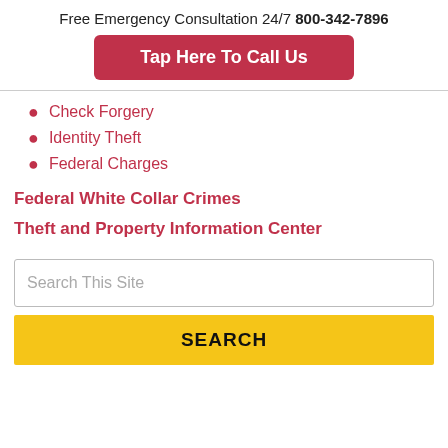Free Emergency Consultation 24/7 800-342-7896
Tap Here To Call Us
Check Forgery
Identity Theft
Federal Charges
Federal White Collar Crimes
Theft and Property Information Center
Search This Site
SEARCH